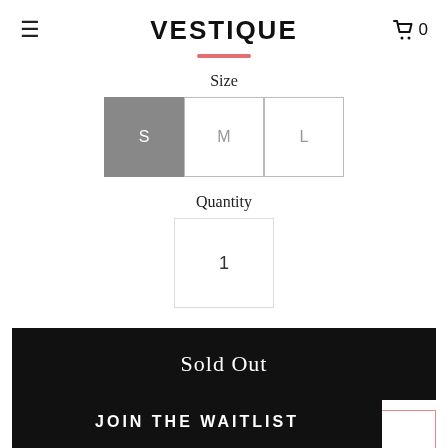VESTIQUE
Size
S  M  L
Quantity
1
Sold Out
Join club 'tique for $50/year for free 2-day shipping (no minimum!)
JOIN THE WAITLIST